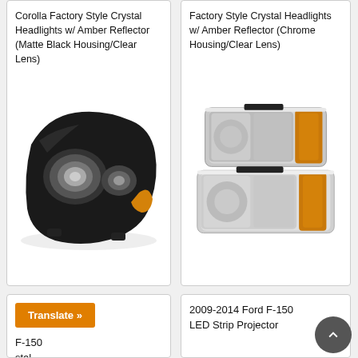Corolla Factory Style Crystal Headlights w/ Amber Reflector (Matte Black Housing/Clear Lens)
[Figure (photo): Black crystal headlight set for Toyota Corolla with amber reflector and clear lens]
Factory Style Crystal Headlights w/ Amber Reflector (Chrome Housing/Clear Lens)
[Figure (photo): Chrome crystal headlights with amber reflector and clear lens, two units stacked]
[Figure (other): Orange Translate button]
F-150 stal
2009-2014 Ford F-150 LED Strip Projector